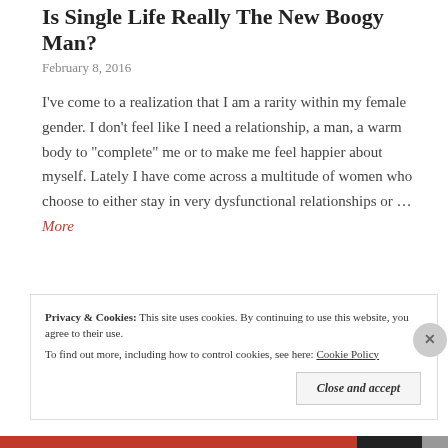Is Single Life Really The New Boogy Man?
February 8, 2016
I've come to a realization that I am a rarity within my female gender. I don't feel like I need a relationship, a man, a warm body to "complete" me or to make me feel happier about myself.  Lately I have come across a multitude of women who choose to either stay in very dysfunctional relationships or … More
[Figure (other): Icon bar with comment and share icons on grey background]
Privacy & Cookies:  This site uses cookies. By continuing to use this website, you agree to their use.
To find out more, including how to control cookies, see here: Cookie Policy
Close and accept